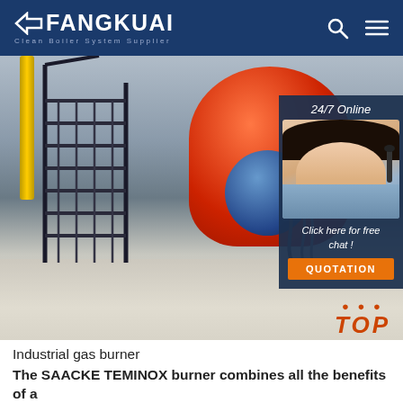FANGKUAI Clean Boiler System Supplier
[Figure (photo): Industrial boiler room with red cylindrical boiler, blue centrifugal blower, metal staircase, yellow pipes, and white tiled floor. Overlay chat widget on right side showing '24/7 Online', customer service agent photo, 'Click here for free chat!' text and orange QUOTATION button. TOP badge in lower right corner.]
Industrial gas burner
The SAACKE TEMINOX burner combines all the benefits of a